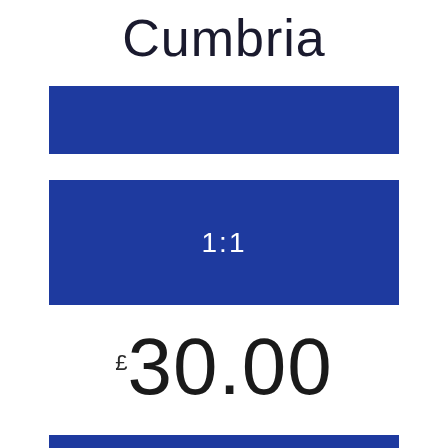Cumbria
[Figure (other): Blue horizontal bar 1]
[Figure (other): Blue horizontal bar with centered text 1:1]
£30.00
[Figure (other): Blue horizontal bar 3]
[Figure (other): Blue horizontal bar 4 (partial)]